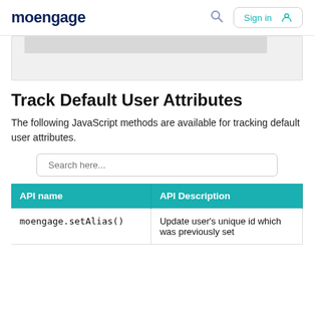moengage   Search   Sign in
[Figure (screenshot): Partial screenshot of a UI element shown in a gray box area]
Track Default User Attributes
The following JavaScript methods are available for tracking default user attributes.
| API name | API Description |
| --- | --- |
| moengage.setAlias() | Update user's unique id which was previously set |